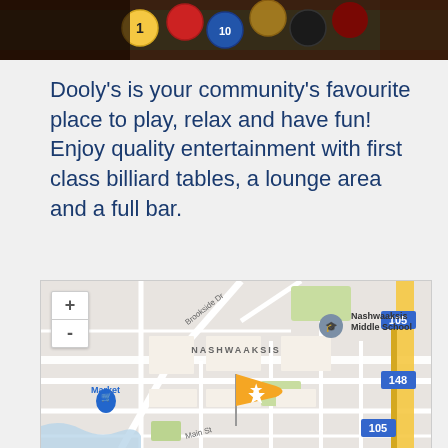[Figure (photo): Close-up photo of billiard/pool balls on a dark background, partially visible at the top of the page]
Dooly's is your community's favourite place to play, relax and have fun! Enjoy quality entertainment with first class billiard tables, a lounge area and a full bar.
[Figure (map): Google Maps-style street map showing Nashwaaksis neighborhood with an orange flag marker indicating a location (Dooly's). Map shows Brookside Dr, Main St, Nashwaaksis Middle School, a Market with cart icon, highway routes 105 and 148, green park areas, and a blue river at bottom left. Zoom +/- controls visible at top left.]